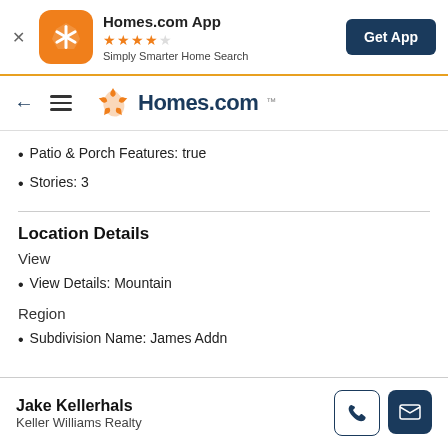[Figure (screenshot): Homes.com app banner with orange icon, star rating, tagline and Get App button]
[Figure (logo): Homes.com navigation bar with back arrow, hamburger menu, and Homes.com logo]
Patio & Porch Features: true
Stories: 3
Location Details
View
View Details: Mountain
Region
Subdivision Name: James Addn
Jake Kellerhals
Keller Williams Realty